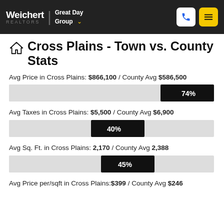Weichert REALTORS | Great Day Group
Cross Plains - Town vs. County Stats
Avg Price in Cross Plains: $866,100 / County Avg $586,500
[Figure (bar-chart): Avg Price]
Avg Taxes in Cross Plains: $5,500 / County Avg $6,900
[Figure (bar-chart): Avg Taxes]
Avg Sq. Ft. in Cross Plains: 2,170 / County Avg 2,388
[Figure (bar-chart): Avg Sq Ft]
Avg Price per/sqft in Cross Plains:$399 / County Avg $246